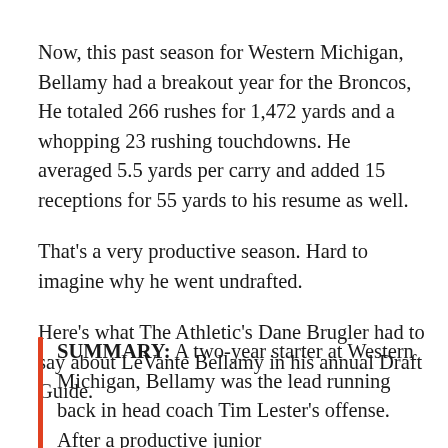Now, this past season for Western Michigan, Bellamy had a breakout year for the Broncos, He totaled 266 rushes for 1,472 yards and a whopping 23 rushing touchdowns. He averaged 5.5 yards per carry and added 15 receptions for 55 yards to his resume as well.
That's a very productive season. Hard to imagine why he went undrafted.
Here's what The Athletic's Dane Brugler had to say about LeVante Bellamy in his annual Draft Guide.
SUMMARY: A two-year starter at Western Michigan, Bellamy was the lead running back in head coach Tim Lester's offense. After a productive junior